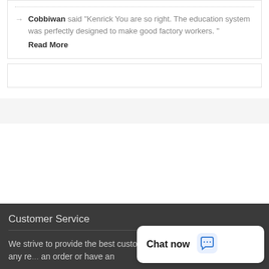Cobbiwan said "Kenrick You are so right. The education system was perfectly designed to make good factory workers. " Read More
We strive to provide the best customer service in the industry. If for any re... an order or have an...
Customer Service
Chat now